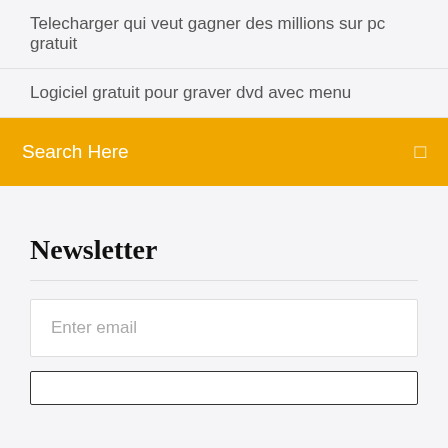Telecharger qui veut gagner des millions sur pc gratuit
Logiciel gratuit pour graver dvd avec menu
Search Here
Newsletter
Enter email